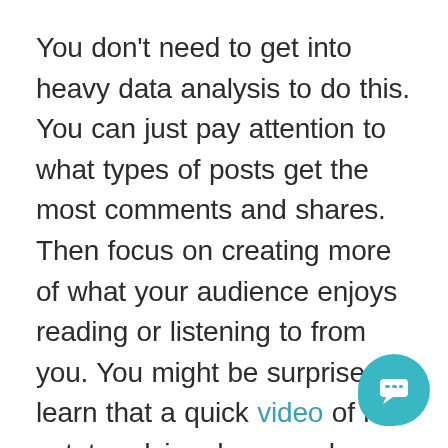You don't need to get into heavy data analysis to do this. You can just pay attention to what types of posts get the most comments and shares. Then focus on creating more of what your audience enjoys reading or listening to from you. You might be surprised to learn that a quick video of real estate advice does much better than a long-form blog you wrote.
As mentioned before, LinkedIn still retains some of the organic reach
[Figure (illustration): Teal chat bubble icon in bottom-right corner with a speech/message icon inside]